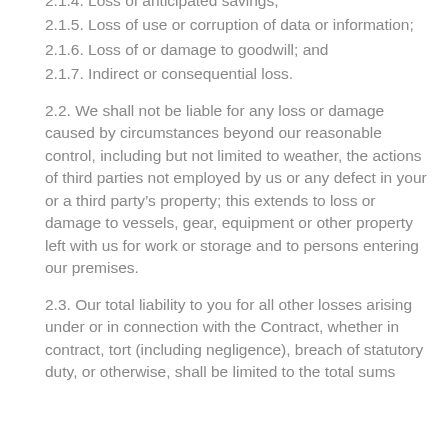2.1.4. Loss of anticipated savings;
2.1.5. Loss of use or corruption of data or information;
2.1.6. Loss of or damage to goodwill; and
2.1.7. Indirect or consequential loss.
2.2. We shall not be liable for any loss or damage caused by circumstances beyond our reasonable control, including but not limited to weather, the actions of third parties not employed by us or any defect in your or a third party’s property; this extends to loss or damage to vessels, gear, equipment or other property left with us for work or storage and to persons entering our premises.
2.3. Our total liability to you for all other losses arising under or in connection with the Contract, whether in contract, tort (including negligence), breach of statutory duty, or otherwise, shall be limited to the total sums